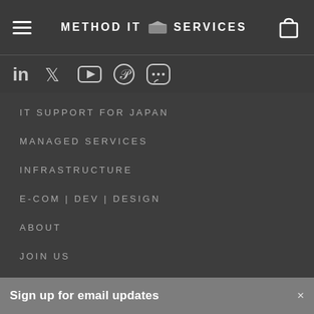METHOD IT SERVICES
[Figure (screenshot): Social media icons: LinkedIn, Twitter, YouTube, Pinterest, LINE]
IT SUPPORT FOR JAPAN
MANAGED SERVICES
INFRASTRUCTURE
E-COM | DEV | DESIGN
ABOUT
JOIN US
Sign up for email updates
Subscribe now